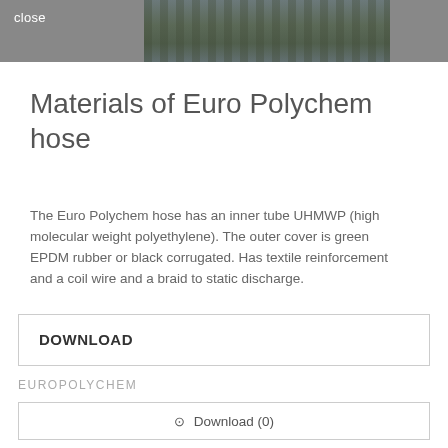close
[Figure (photo): Urban cityscape photograph showing buildings and street scene, used as a banner/hero image for Euro Polychem hose product page]
Materials of Euro Polychem hose
The Euro Polychem hose has an inner tube UHMWP (high molecular weight polyethylene). The outer cover is green EPDM rubber or black corrugated. Has textile reinforcement and a coil wire and a braid to static discharge.
DOWNLOAD
EUROPOLYCHEM
⊙ Download (0)